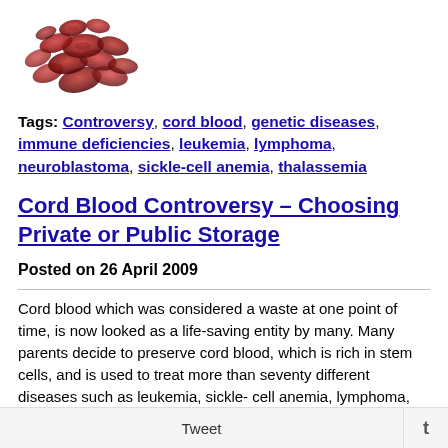[Figure (photo): Cluster of red blood cells illustration]
Tags: Controversy, cord blood, genetic diseases, immune deficiencies, leukemia, lymphoma, neuroblastoma, sickle-cell anemia, thalassemia
Cord Blood Controversy – Choosing Private or Public Storage
Posted on 26 April 2009
Cord blood which was considered a waste at one point of time, is now looked as a life-saving entity by many. Many parents decide to preserve cord blood, which is rich in stem cells, and is used to treat more than seventy different diseases such as leukemia, sickle-cell anemia, lymphoma, thalassemia, neuroblastoma, genetic diseases, and immune deficiencies.
Tweet  t